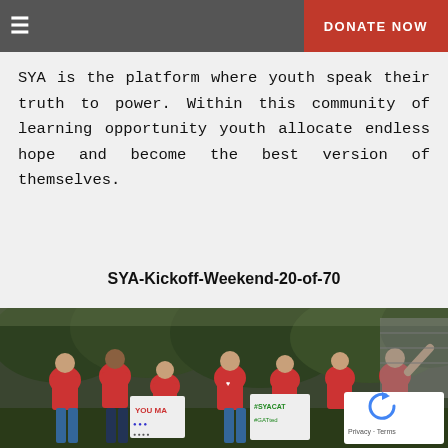≡   DONATE NOW
SYA is the platform where youth speak their truth to power. Within this community of learning opportunity youth allocate endless hope and become the best version of themselves.
SYA-Kickoff-Weekend-20-of-70
[Figure (photo): Group of young people in red t-shirts with heart logos, smiling and waving, holding signs reading 'YOU MA' and '#SYACAT #GATted', standing outdoors in front of trees]